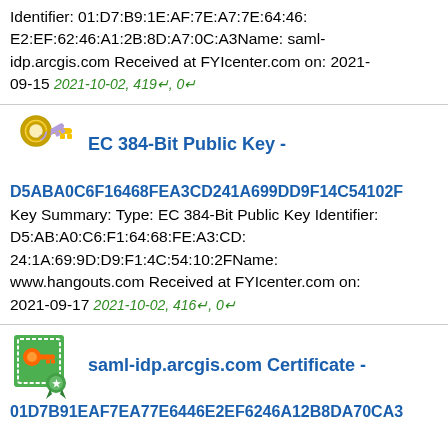Identifier: 01:D7:B9:1E:AF:7E:A7:7E:64:46:E2:EF:62:46:A1:2B:8D:A7:0C:A3Name: saml-idp.arcgis.com Received at FYIcenter.com on: 2021-09-15 2021-10-02, 419↵, 0↵
[Figure (illustration): Gold keys icon]
EC 384-Bit Public Key -
D5ABA0C6F16468FEA3CD241A699DD9F14C54102F
Key Summary: Type: EC 384-Bit Public Key Identifier: D5:AB:A0:C6:F1:64:68:FE:A3:CD:24:1A:69:9D:D9:F1:4C:54:10:2FName: www.hangouts.com Received at FYIcenter.com on: 2021-09-17 2021-10-02, 416↵, 0↵
[Figure (illustration): Certificate icon with orange key and green ribbon]
saml-idp.arcgis.com Certificate -
01D7B91EAF7EA77E6446E2EF6246A12B8DA70CA3